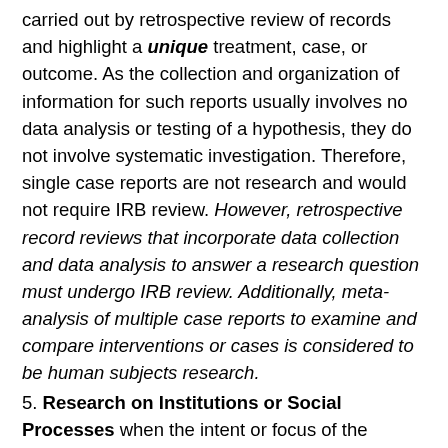carried out by retrospective review of records and highlight a unique treatment, case, or outcome. As the collection and organization of information for such reports usually involves no data analysis or testing of a hypothesis, they do not involve systematic investigation. Therefore, single case reports are not research and would not require IRB review. However, retrospective record reviews that incorporate data collection and data analysis to answer a research question must undergo IRB review. Additionally, meta-analysis of multiple case reports to examine and compare interventions or cases is considered to be human subjects research.
5. Research on Institutions or Social Processes when the intent or focus of the research is to gain knowledge of an institution or social process (e.g., a political party, labor negotiations) and this research is not intended to produce generalizable knowledge about any particular individual or groups of individuals.